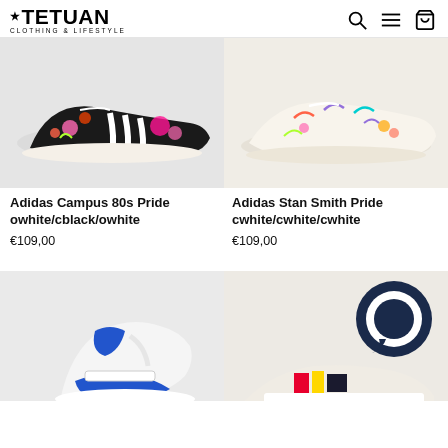TETUAN CLOTHING & LIFESTYLE
[Figure (photo): Adidas Campus 80s Pride sneaker - black with colorful floral/doodle graphics and white stripes]
[Figure (photo): Adidas Stan Smith Pride sneaker - cream/white with colorful floral/doodle graphics]
Adidas Campus 80s Pride owhite/cblack/owhite
€109,00
Adidas Stan Smith Pride cwhite/cwhite/cwhite
€109,00
[Figure (photo): Adidas high-top sneaker - white and blue, partially visible]
[Figure (photo): Adidas sneaker partially visible with dark navy chat bubble icon overlay]